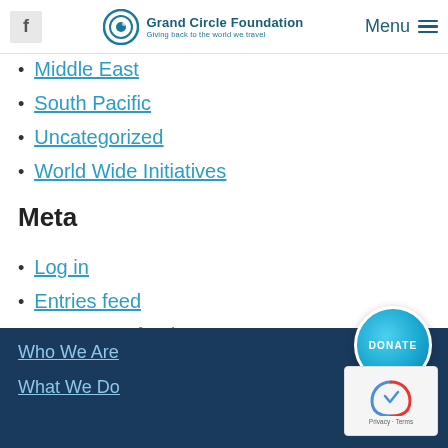Grand Circle Foundation — Giving back to the world we travel | Menu
Middle East
South Pacific
Uncategorized
World Wide Initiatives
Meta
Log in
Entries feed
Comments feed
WordPress.org
[Figure (other): Donate button — circular teal button with DONATE text]
Who We Are | What We Do
[Figure (other): reCAPTCHA Privacy - Terms badge]